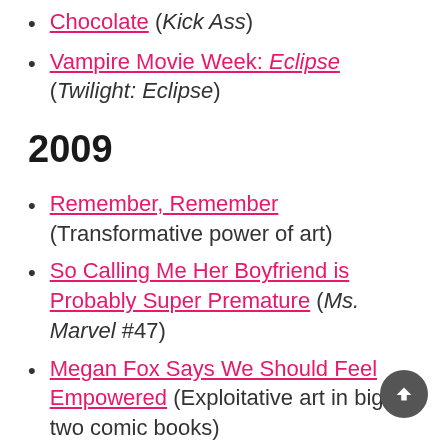Chocolate (Kick Ass)
Vampire Movie Week: Eclipse (Twilight: Eclipse)
2009
Remember, Remember (Transformative power of art)
So Calling Me Her Boyfriend is Probably Super Premature (Ms. Marvel #47)
Megan Fox Says We Should Feel Empowered (Exploitative art in big two comic books)
The Unbearable Lightness of Being Sue Storm